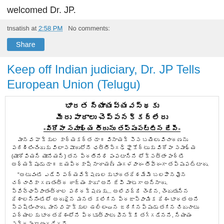welcomed Dr. JP.
tnsatish at 2:58 PM   No comments:
Share
Keep off Indian judiciary, Dr. JP Tells European Union (Telugu)
భారత న్యాయవ్యవస్థకు మీరు పాఠాలు చెప్పనక్కర్లేదు -విరోపా సమాఖ్య తీరును తప్పుపట్టిన జేపీ-
మానవ హక్కుల కార్యకర్త డా॥ వినాయక్ సెస బయిలు విచారణను పరిశీలించేందుకు విలాసపూరులోని ఛత్తీస్‌గఢ్ హైకోర్టుకు విరోపా సమాఖ్య (యూరోపియన్ యూనియన్) తన ప్రతినిధి పంపటాన్ని లోక్‌సత్తా పార్టీ అధ్యక్షుడు డా॥ జయప్రకాష్ నారాయణ్ మంగళవారం తీవ్రంగా తప్పుపట్టారు.

"అటువంటి ఎడేసి పర్యవేక్షణలకు భారతదేశమేమీ బలహీనమైన చర్చాచికా గణతంత్ర రాజ్యం కాదు" అని జేపీ మాటగా అన్నారు. స్వేచ్ఛాస్వాతంత్రాల పరిరక్షణకు... అలివద్ది చెందిన, చెందుతున్న దేశాలన్నింటిలో అరుదైన మనత కలిగిన ప్రజాస్వామిక దేశం భారత అని స్పష్టించారు. మానవ హక్కుల ఉల్లంఘన జరిగినప్పుడు తగిన చిదుచాటు పర్యాలకు భారతదేశంలోని ప్రభుత్వాలు వెనక్కి తగ్గడేనని, న్యాయం సక్రమంగా అందడేదని